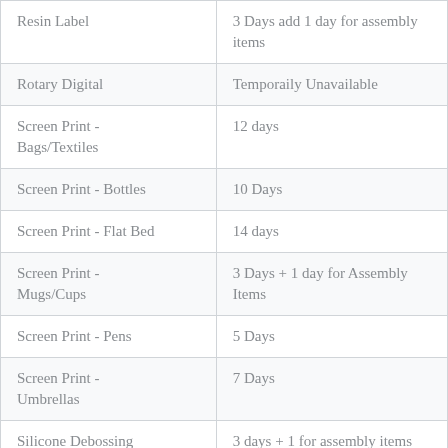| Resin Label | 3 Days add 1 day for assembly items |
| Rotary Digital | Temporaily Unavailable |
| Screen Print - Bags/Textiles | 12 days |
| Screen Print - Bottles | 10 Days |
| Screen Print - Flat Bed | 14 days |
| Screen Print - Mugs/Cups | 3 Days + 1 day for Assembly Items |
| Screen Print - Pens | 5 Days |
| Screen Print - Umbrellas | 7 Days |
| Silicone Debossing | 3 days + 1 for assembly items |
| Silicone Digital Print | 9 Days + 1 day for |